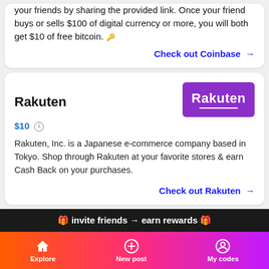your friends by sharing the provided link. Once your friend buys or sells $100 of digital currency or more, you will both get $10 of free bitcoin.
Check out Coinbase →
Rakuten
[Figure (logo): Rakuten purple logo with white text and underline]
$10
Rakuten, Inc. is a Japanese e-commerce company based in Tokyo. Shop through Rakuten at your favorite stores & earn Cash Back on your purchases.
Check out Rakuten →
🎁 invite friends → earn rewards 🎁
Explore  New post  My codes